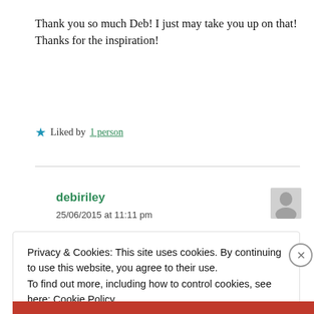Thank you so much Deb! I just may take you up on that! Thanks for the inspiration!
★ Liked by 1 person
debiriley
25/06/2015 at 11:11 pm
Privacy & Cookies: This site uses cookies. By continuing to use this website, you agree to their use.
To find out more, including how to control cookies, see here: Cookie Policy
Close and accept